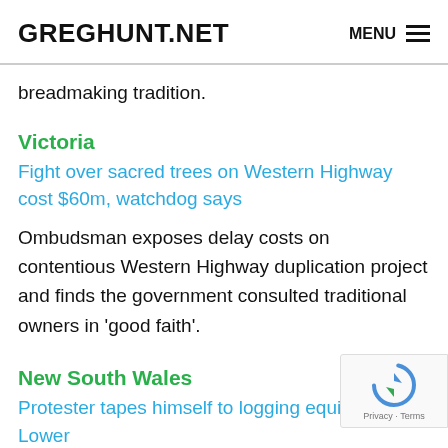GREGHUNT.NET  MENU
breadmaking tradition.
Victoria
Fight over sacred trees on Western Highway cost $60m, watchdog says
Ombudsman exposes delay costs on contentious Western Highway duplication project and finds the government consulted traditional owners in 'good faith'.
New South Wales
Protester tapes himself to logging equipment in Lower